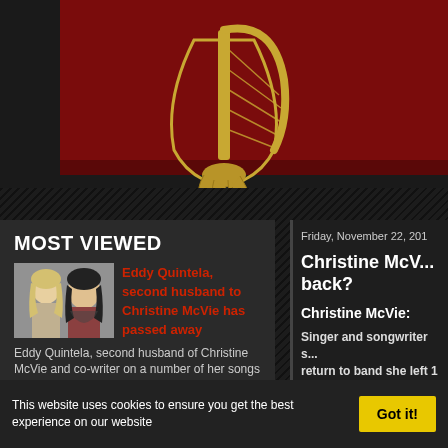[Figure (illustration): Dark red background with gold illustrated harp/foot design, part of a music-related website header image]
MOST VIEWED
[Figure (photo): Photo of a blonde woman and a dark-haired man together, related to Eddy Quintela and Christine McVie article]
Eddy Quintela, second husband to Christine McVie has passed away
Eddy Quintela, second husband of Christine McVie and co-writer on a number of her songs from 1987 through 1997 has passed away. Song writer,...
Friday, November 22, 201
Christine McV... back?
Christine McVie:
Singer and songwriter s... return to band she left 1
This website uses cookies to ensure you get the best experience on our website